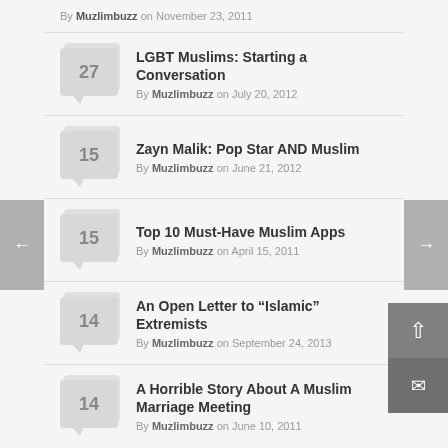By Muzlimbuzz on November 23, 2011
27 | LGBT Muslims: Starting a Conversation | By Muzlimbuzz on July 20, 2012
15 | Zayn Malik: Pop Star AND Muslim | By Muzlimbuzz on June 21, 2012
15 | Top 10 Must-Have Muslim Apps | By Muzlimbuzz on April 15, 2011
14 | An Open Letter to “Islamic” Extremists | By Muzlimbuzz on September 24, 2013
14 | A Horrible Story About A Muslim Marriage Meeting | By Muzlimbuzz on June 10, 2011